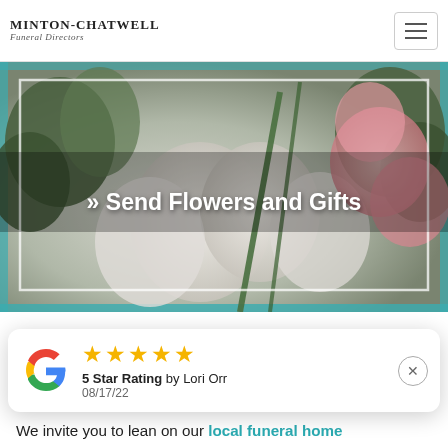MINTON-CHATWELL Funeral Directors
[Figure (photo): Close-up photo of flowers (white and pink blooms with green stems/leaves) with text overlay '» Send Flowers and Gifts' and a white dashed border frame inside]
Welcome to the premier resource for Borger local funeral home services. Here at Minton-Chatwell Funeral Directors...
We invite you to lean on our local funeral home
[Figure (other): Google review popup card showing Google G logo, 5 gold star rating, '5 Star Rating by Lori Orr', date 08/17/22, and a close (X) button]